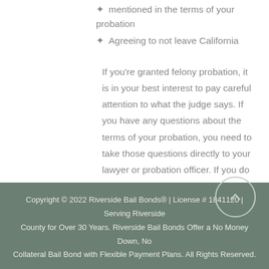mentioned in the terms of your probation
Agreeing to not leave California
If you're granted felony probation, it is in your best interest to pay careful attention to what the judge says. If you have any questions about the terms of your probation, you need to take those questions directly to your lawyer or probation officer. If you do make a mistake while you're on felony probation, you should be honest about it, which could make a judge more tolerant and less likely to revoke your probation.
Copyright © 2022 Riverside Bail Bonds® | License # 1841120 | Serving Riverside County for Over 30 Years. Riverside Bail Bonds Offer a No Money Down, No Collateral Bail Bond with Flexible Payment Plans. All Rights Reserved.